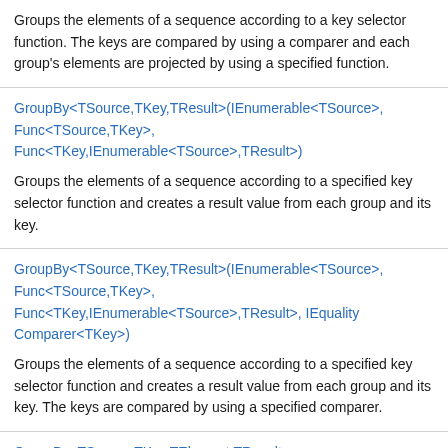Groups the elements of a sequence according to a key selector function. The keys are compared by using a comparer and each group's elements are projected by using a specified function.
GroupBy<TSource,TKey,TResult>(IEnumerable<TSource>, Func<TSource,TKey>, Func<TKey,IEnumerable<TSource>,TResult>)
Groups the elements of a sequence according to a specified key selector function and creates a result value from each group and its key.
GroupBy<TSource,TKey,TResult>(IEnumerable<TSource>, Func<TSource,TKey>, Func<TKey,IEnumerable<TSource>,TResult>, IEqualityComparer<TKey>)
Groups the elements of a sequence according to a specified key selector function and creates a result value from each group and its key. The keys are compared by using a specified comparer.
GroupBy<TSource,TKey,TElement,TResult>(IEnumerable<TSource>, Func<TSource,TKey>,